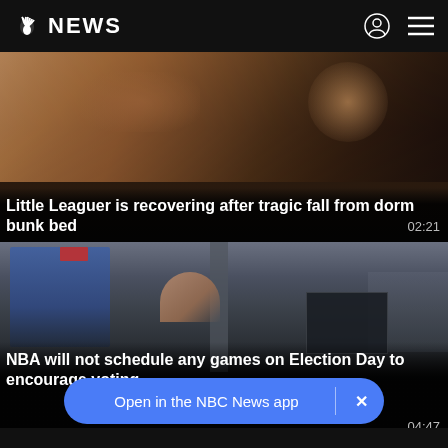NBC NEWS
[Figure (screenshot): Video thumbnail: Little Leaguer injured after fall from dorm bunk bed]
Little Leaguer is recovering after tragic fall from dorm bunk bed
02:21
[Figure (screenshot): Video thumbnail: Person at a ballot drop box or voting machine location]
NBA will not schedule any games on Election Day to encourage voting
04:47
Open in the NBC News app